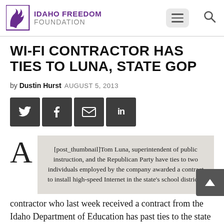Idaho Freedom Foundation
WI-FI CONTRACTOR HAS TIES TO LUNA, STATE GOP
by Dustin Hurst AUGUST 5, 2013
[Figure (infographic): Social share buttons: Twitter, Facebook, Email, LinkedIn]
[post_thumbnail]Tom Luna, superintendent of public instruction, and the Republican Party have ties to two individuals employed by the company awarded a contract to install high-speed Internet in the state's school districts.
A contractor who last week received a contract from the Idaho Department of Education has past ties to the state agency's head man and the Idaho Republican Party.